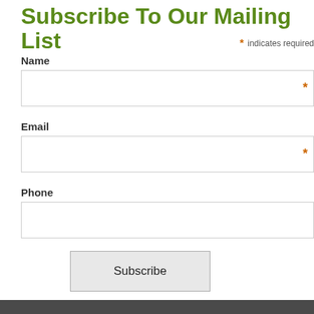Subscribe To Our Mailing List
* indicates required
Name
Email
Phone
Subscribe